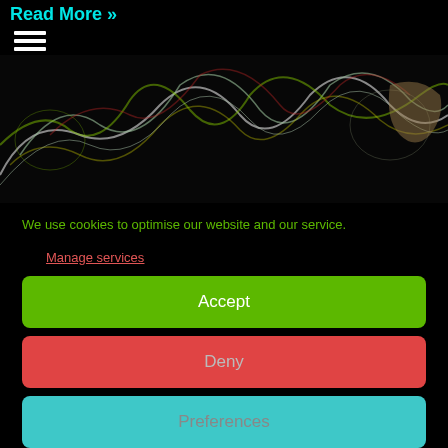Read More »
[Figure (photo): Abstract light painting photo on black background showing colorful streaks of light resembling a musician playing a guitar, with green, yellow, white, and red light trails.]
We use cookies to optimise our website and our service.
Manage services
Accept
Deny
Preferences
Cookie Policy   Privacy Policy